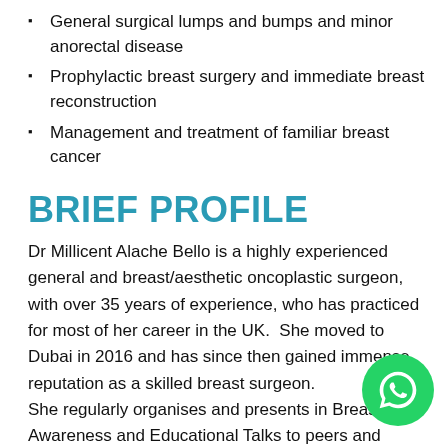General surgical lumps and bumps and minor anorectal disease
Prophylactic breast surgery and immediate breast reconstruction
Management and treatment of familiar breast cancer
BRIEF PROFILE
Dr Millicent Alache Bello is a highly experienced general and breast/aesthetic oncoplastic surgeon, with over 35 years of experience, who has practiced for most of her career in the UK.  She moved to Dubai in 2016 and has since then gained immense reputation as a skilled breast surgeon.
She regularly organises and presents in Breast Awareness and Educational Talks to peers and general public.